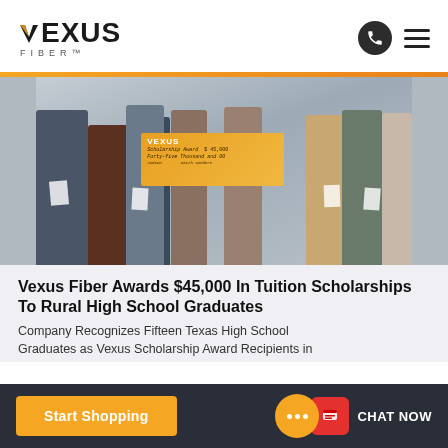VEXUS FIBER
[Figure (photo): Group photo of high school graduates holding a large Vexus-branded check for $45,000 in scholarship awards, with the check reading 'Scholarship Award $45,000, Forty-five Thousand and 00/100']
Vexus Fiber Awards $45,000 In Tuition Scholarships To Rural High School Graduates
Company Recognizes Fifteen Texas High School Graduates as Vexus Scholarship Award Recipients in